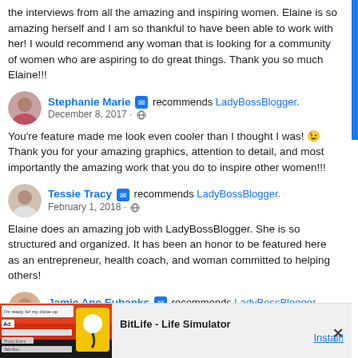the interviews from all the amazing and inspiring women. Elaine is so amazing herself and I am so thankful to have been able to work with her! I would recommend any woman that is looking for a community of women who are aspiring to do great things. Thank you so much Elaine!!!
Stephanie Marie recommends LadyBossBlogger. December 8, 2017
You're feature made me look even cooler than I thought I was! 😉 Thank you for your amazing graphics, attention to detail, and most importantly the amazing work that you do to inspire other women!!!
Tessie Tracy recommends LadyBossBlogger. February 1, 2018
Elaine does an amazing job with LadyBossBlogger. She is so structured and organized. It has been an honor to be featured here as an entrepreneur, health coach, and woman committed to helping others!
Jamie Ane Eubanks recommends LadyBossBlogger. February 10, 2018
I met Elaine in a Starbucks I have never been to and will more than likely never go to again. (I am not from that area and was just passing through.) Elaine was such a pleasure to talk to and her commitment towards Female Entrepreneurs was
[Figure (screenshot): Advertisement banner for BitLife - Life Simulator app with Install button]